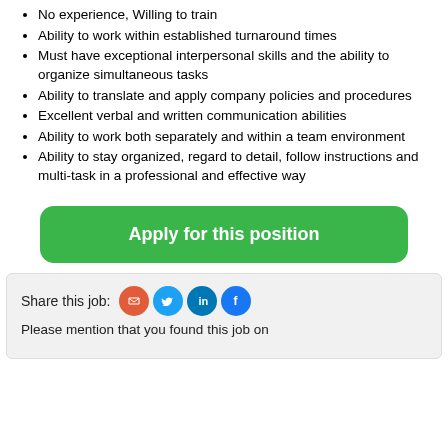No experience, Willing to train
Ability to work within established turnaround times
Must have exceptional interpersonal skills and the ability to organize simultaneous tasks
Ability to translate and apply company policies and procedures
Excellent verbal and written communication abilities
Ability to work both separately and within a team environment
Ability to stay organized, regard to detail, follow instructions and multi-task in a professional and effective way
Apply for this position
Share this job:
Please mention that you found this job on